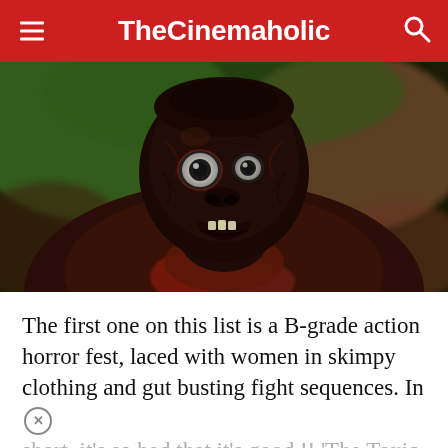TheCinemaholic
[Figure (photo): Close-up of a heavily made-up monster character from 'The Toxic Avenger' — a grotesque creature with wrinkled, dark, mutated skin, wide bulging eyes, and a monstrous face against a blurred outdoor background.]
The first one on this list is a B-grade action horror fest, laced with women in skimpy clothing and gut busting fight sequences. In short, it's so bad that it's good !! 'The Toxic Avenger' is the story of a nerdy janitor who achieves super human powers, after falling into a vat of toxic waste. Wh...